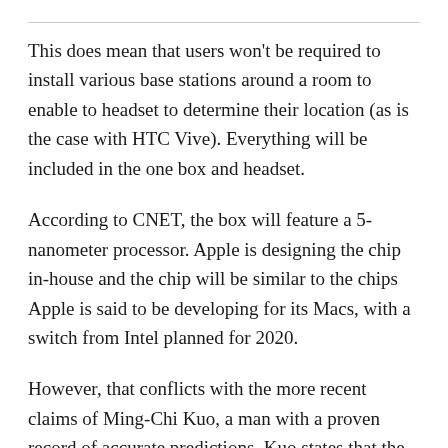This does mean that users won't be required to install various base stations around a room to enable to headset to determine their location (as is the case with HTC Vive). Everything will be included in the one box and headset.
According to CNET, the box will feature a 5-nanometer processor. Apple is designing the chip in-house and the chip will be similar to the chips Apple is said to be developing for its Macs, with a switch from Intel planned for 2020.
However, that conflicts with the more recent claims of Ming-Chi Kuo, a man with a proven record of accurate predictions. Kuo states that the first-gen AR glasses will be heavily dependent on the iPhone,